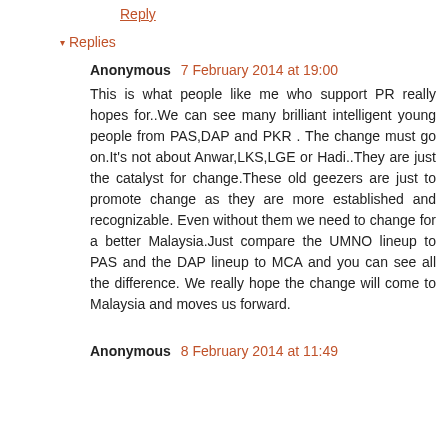Reply
▾ Replies
Anonymous 7 February 2014 at 19:00
This is what people like me who support PR really hopes for..We can see many brilliant intelligent young people from PAS,DAP and PKR . The change must go on.It's not about Anwar,LKS,LGE or Hadi..They are just the catalyst for change.These old geezers are just to promote change as they are more established and recognizable. Even without them we need to change for a better Malaysia.Just compare the UMNO lineup to PAS and the DAP lineup to MCA and you can see all the difference. We really hope the change will come to Malaysia and moves us forward.
Anonymous 8 February 2014 at 11:49